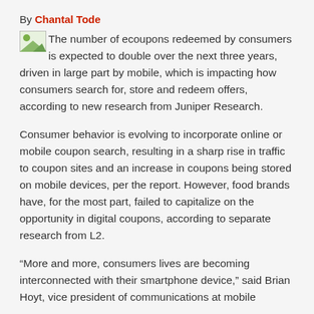By Chantal Tode
[Figure (photo): Small thumbnail image placeholder]
The number of ecoupons redeemed by consumers is expected to double over the next three years, driven in large part by mobile, which is impacting how consumers search for, store and redeem offers, according to new research from Juniper Research.
Consumer behavior is evolving to incorporate online or mobile coupon search, resulting in a sharp rise in traffic to coupon sites and an increase in coupons being stored on mobile devices, per the report. However, food brands have, for the most part, failed to capitalize on the opportunity in digital coupons, according to separate research from L2.
“More and more, consumers lives are becoming interconnected with their smartphone device,” said Brian Hoyt, vice president of communications at mobile